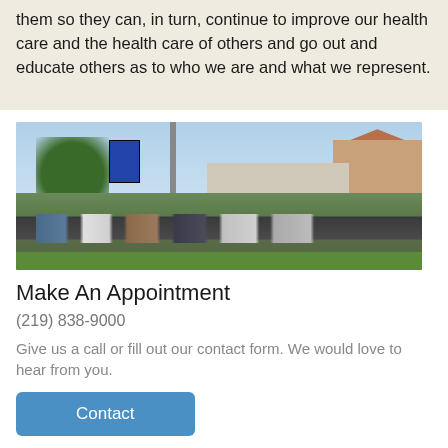them so they can, in turn, continue to improve our health care and the health care of others and go out and educate others as to who we are and what we represent.
[Figure (photo): Street view photo of a medical clinic building with parking lot, cars, trees, and signage visible]
Make An Appointment
(219) 838-9000
Give us a call or fill out our contact form. We would love to hear from you.
Contact